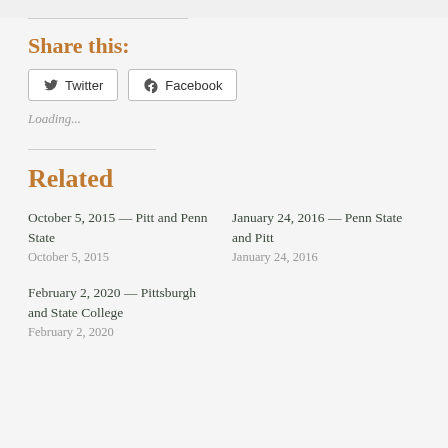Share this:
Twitter  Facebook
Loading...
Related
October 5, 2015 — Pitt and Penn State
October 5, 2015
January 24, 2016 — Penn State and Pitt
January 24, 2016
February 2, 2020 — Pittsburgh and State College
February 2, 2020